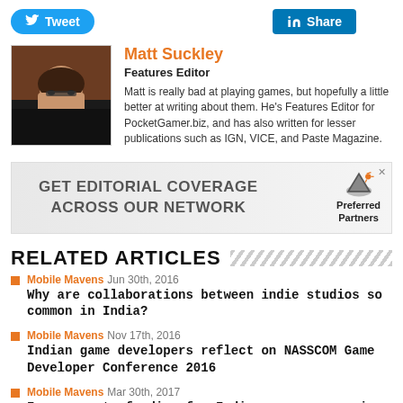[Figure (other): Tweet and LinkedIn Share buttons]
[Figure (photo): Author photo of Matt Suckley]
Matt Suckley
Features Editor
Matt is really bad at playing games, but hopefully a little better at writing about them. He's Features Editor for PocketGamer.biz, and has also written for lesser publications such as IGN, VICE, and Paste Magazine.
[Figure (infographic): Advertisement banner: GET EDITORIAL COVERAGE ACROSS OUR NETWORK - Preferred Partners]
RELATED ARTICLES
Mobile Mavens  Jun 30th, 2016 — Why are collaborations between indie studios so common in India?
Mobile Mavens  Nov 17th, 2016 — Indian game developers reflect on NASSCOM Game Developer Conference 2016
Mobile Mavens  Mar 30th, 2017 — Is access to funding for Indian games companies improving?
Mobile Mavens  Dec 31st, 2016